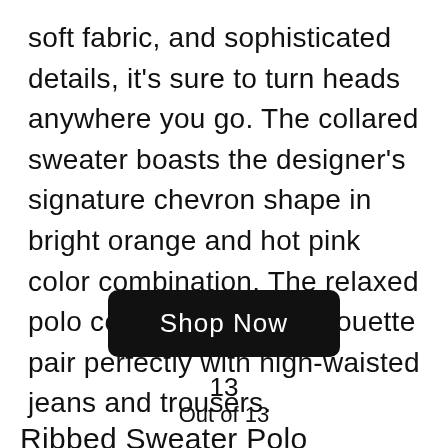soft fabric, and sophisticated details, it's sure to turn heads anywhere you go. The collared sweater boasts the designer's signature chevron shape in bright orange and hot pink color combination. The relaxed polo collar and fitted silhouette pair perfectly with high-waisted jeans and trousers.
Shop Now
13
Out of 13
Ribbed Sweater Polo